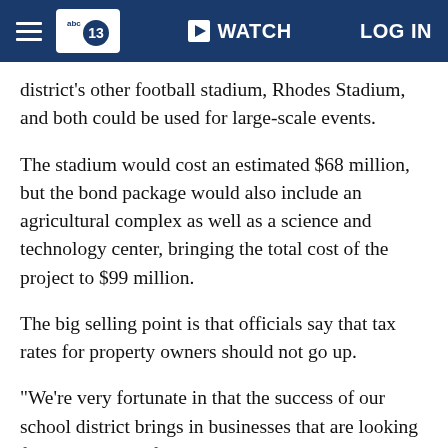abc13 WATCH LOG IN
district's other football stadium, Rhodes Stadium, and both could be used for large-scale events.
The stadium would cost an estimated $68 million, but the bond package would also include an agricultural complex as well as a science and technology center, bringing the total cost of the project to $99 million.
The big selling point is that officials say that tax rates for property owners should not go up.
"We're very fortunate in that the success of our school district brings in businesses that are looking for a good place for their employees to work. So as new businesses come in, that adds to the tax rolls," bond committee chairman Tommy Harrison said.